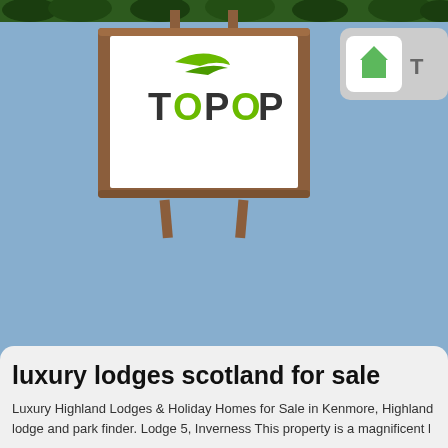[Figure (logo): TOPOP logo displayed on a wooden sign board with a tropical beach background. The sign shows the TOPOP brand name with green stylized letters and a dark car/arrow icon above the text.]
[Figure (screenshot): Navigation tab in top right corner with a green home/house icon button on white rounded square background, and a partial tab label 'T' visible to the right.]
luxury lodges scotland for sale
Luxury Highland Lodges & Holiday Homes for Sale in Kenmore, Highland lodge and park finder. Lodge 5, Inverness This property is a magnificent l